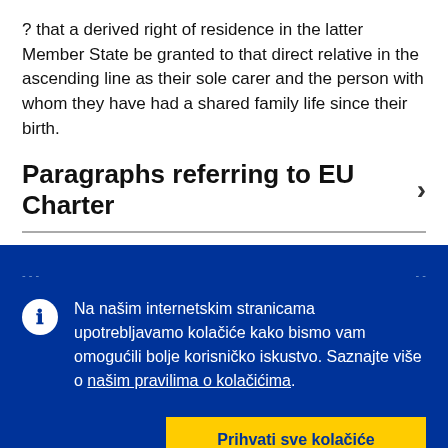? that a derived right of residence in the latter Member State be granted to that direct relative in the ascending line as their sole carer and the person with whom they have had a shared family life since their birth.
Paragraphs referring to EU Charter
Na našim internetskim stranicama upotrebljavamo kolačiće kako bismo vam omogućili bolje korisničko iskustvo. Saznajte više o našim pravilima o kolačićima.
Prihvati sve kolačiće
Prihvati samo neophodne kolačiće